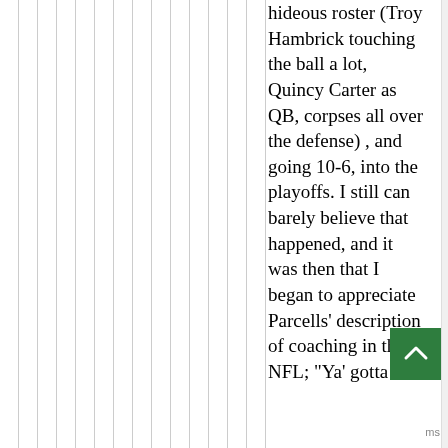hideous roster (Troy Hambrick touching the ball a lot, Quincy Carter as QB, corpses all over the defense), and going 10-6, into the playoffs. I still can barely believe that happened, and it was then that I began to appreciate Parcells' description of coaching in the NFL; "Ya' gotta